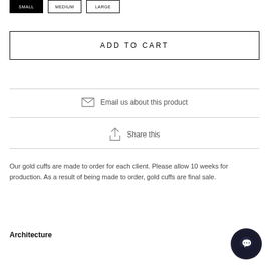[Figure (other): Size selector buttons: SMALL (selected/filled black), MEDIUM (unselected), LARGE (unselected)]
ADD TO CART
Email us about this product
Share this
Our gold cuffs are made to order for each client. Please allow 10 weeks for production. As a result of being made to order, gold cuffs are final sale.
Architecture
[Figure (other): Dark circular chat support widget button in bottom right corner]